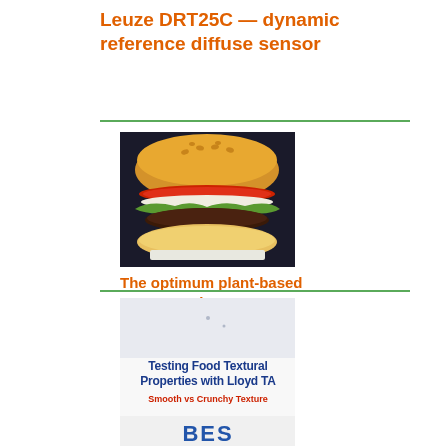Leuze DRT25C — dynamic reference diffuse sensor
[Figure (photo): Photograph of a plant-based burger with sesame bun, tomato slices, lettuce, cheese and a dark patty on a white wrapper against a dark background.]
The optimum plant-based taste experience
[Figure (screenshot): Partially visible promotional image for 'Testing Food Textural Properties with Lloyd TA' showing bold blue and red text on white background with 'Smooth vs Crunchy Texture' subtitle and partial 'BES' logo at bottom.]